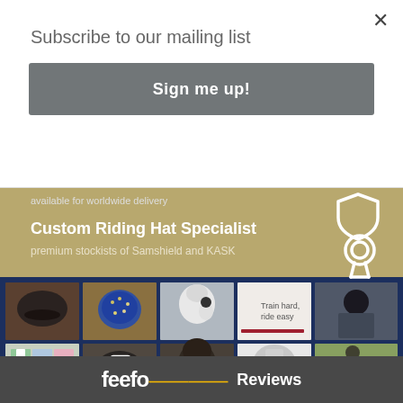×
Subscribe to our mailing list
Sign me up!
available for worldwide delivery
Custom Riding Hat Specialist
premium stockists of Samshield and KASK
[Figure (photo): Grid of equestrian product photos: riding hats, horses, equestrian clothing, stirrups, and a rider in formal attire]
feefo Reviews